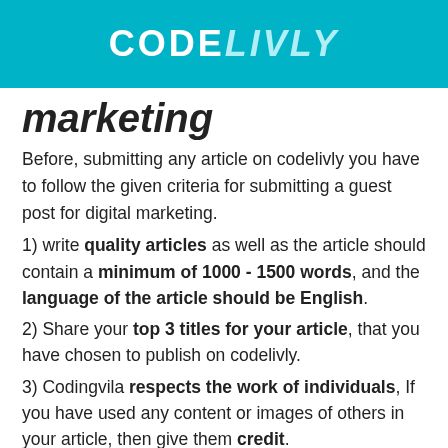CODELIVLY
marketing
Before, submitting any article on codelivly you have to follow the given criteria for submitting a guest post for digital marketing.
1) write quality articles as well as the article should contain a minimum of 1000 - 1500 words, and the language of the article should be English.
2) Share your top 3 titles for your article, that you have chosen to publish on codelivly.
3) Codingvila respects the work of individuals, If you have used any content or images of others in your article, then give them credit.
4) Codingvila also respects your hard work as well, so please don't forget to share the name of the author, along